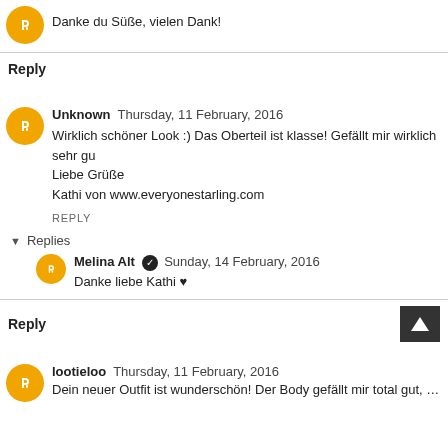Danke du Süße, vielen Dank!
Reply
Unknown  Thursday, 11 February, 2016
Wirklich schöner Look :) Das Oberteil ist klasse! Gefällt mir wirklich sehr gu
Liebe Grüße
Kathi von www.everyonestarling.com
REPLY
Replies
Melina Alt  Sunday, 14 February, 2016
Danke liebe Kathi ♥
Reply
lootieloo  Thursday, 11 February, 2016
Dein neuer Outfit ist wunderschön! Der Body gefällt mir total gut, weil ich...